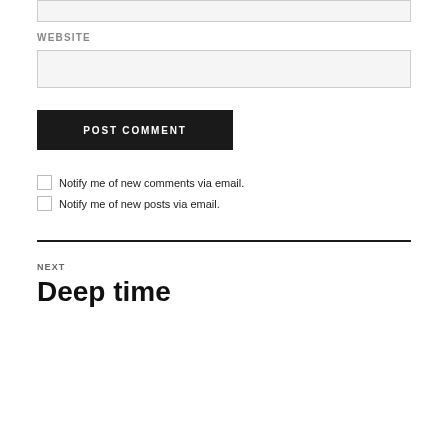WEBSITE
POST COMMENT
Notify me of new comments via email.
Notify me of new posts via email.
NEXT
Deep time